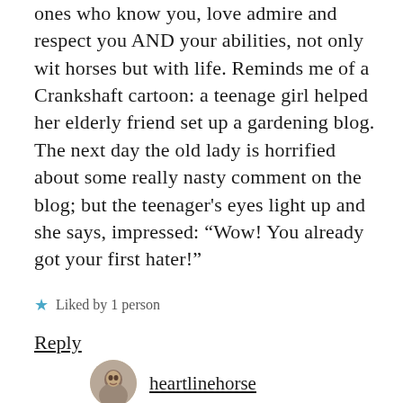ones who know you, love admire and respect you AND your abilities, not only wit horses but with life. Reminds me of a Crankshaft cartoon: a teenage girl helped her elderly friend set up a gardening blog. The next day the old lady is horrified about some really nasty comment on the blog; but the teenager's eyes light up and she says, impressed: “Wow! You already got your first hater!”
★ Liked by 1 person
Reply
heartlinehorse